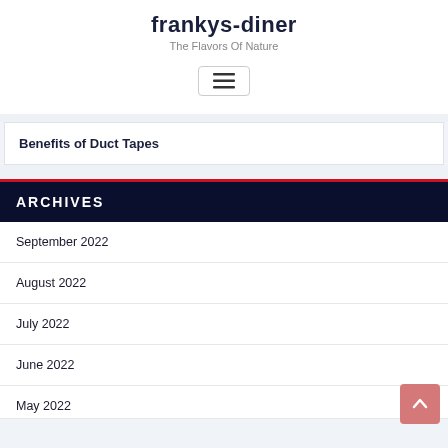frankys-diner
The Flavors Of Nature
[Figure (other): Hamburger menu icon button with three horizontal lines inside a rounded rectangle border]
Benefits of Duct Tapes
ARCHIVES
September 2022
August 2022
July 2022
June 2022
May 2022